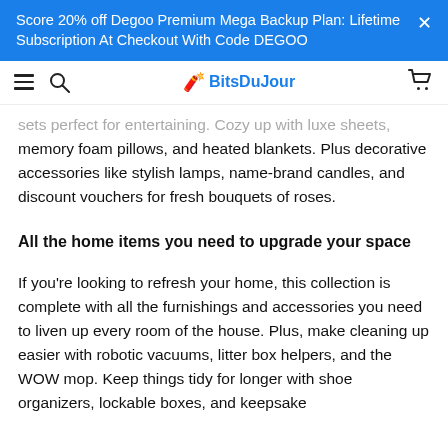Score 20% off Degoo Premium Mega Backup Plan: Lifetime Subscription At Checkout With Code DEGOO
BitsDuJour
sets perfect for entertaining. Cozy up with luxe sheets, memory foam pillows, and heated blankets. Plus decorative accessories like stylish lamps, name-brand candles, and discount vouchers for fresh bouquets of roses.
All the home items you need to upgrade your space
If you're looking to refresh your home, this collection is complete with all the furnishings and accessories you need to liven up every room of the house. Plus, make cleaning up easier with robotic vacuums, litter box helpers, and the WOW mop. Keep things tidy for longer with shoe organizers, lockable boxes, and keepsake